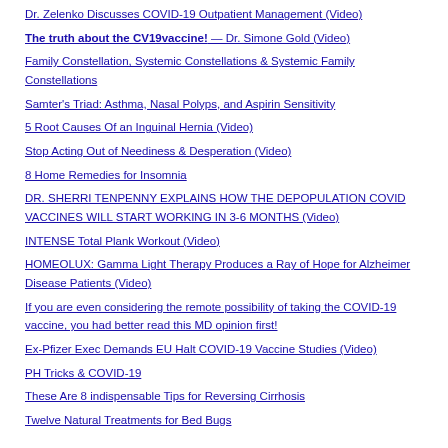Dr. Zelenko Discusses COVID-19 Outpatient Management (Video)
The truth about the CV19vaccine! — Dr. Simone Gold (Video)
Family Constellation, Systemic Constellations & Systemic Family Constellations
Samter's Triad: Asthma, Nasal Polyps, and Aspirin Sensitivity
5 Root Causes Of an Inguinal Hernia (Video)
Stop Acting Out of Neediness & Desperation (Video)
8 Home Remedies for Insomnia
DR. SHERRI TENPENNY EXPLAINS HOW THE DEPOPULATION COVID VACCINES WILL START WORKING IN 3-6 MONTHS (Video)
INTENSE Total Plank Workout (Video)
HOMEOLUX: Gamma Light Therapy Produces a Ray of Hope for Alzheimer Disease Patients (Video)
If you are even considering the remote possibility of taking the COVID-19 vaccine, you had better read this MD opinion first!
Ex-Pfizer Exec Demands EU Halt COVID-19 Vaccine Studies (Video)
PH Tricks & COVID-19
These Are 8 indispensable Tips for Reversing Cirrhosis
Twelve Natural Treatments for Bed Bugs